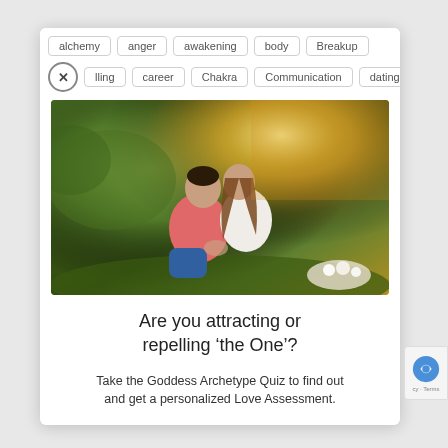alchemy  anger  awakening  body  Breakup
lling  career  Chakra  Communication  dating
[Figure (photo): A couple sitting together on grass in a park, leaning in close to each other romantically, with warm golden sunlight in the background and green foliage.]
Are you attracting or repelling ‘the One’?
Take the Goddess Archetype Quiz to find out and get a personalized Love Assessment.